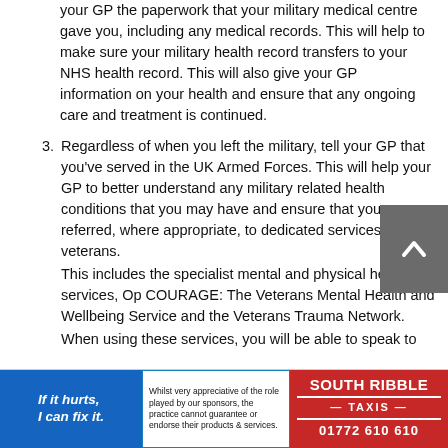your GP the paperwork that your military medical centre gave you, including any medical records. This will help to make sure your military health record transfers to your NHS health record. This will also give your GP information on your health and ensure that any ongoing care and treatment is continued.
3. Regardless of when you left the military, tell your GP that you’ve served in the UK Armed Forces. This will help your GP to better understand any military related health conditions that you may have and ensure that you are referred, where appropriate, to dedicated services for veterans.
This includes the specialist mental and physical health services, Op COURAGE: The Veterans Mental Health and Wellbeing Service and the Veterans Trauma Network.
When using these services, you will be able to speak to
[Figure (other): Scroll-to-top button with upward chevron icon, grey background]
[Figure (other): Ad banner: blue background with italic white text 'If it hurts, I can fix it.']
[Figure (other): Ad banner: white background with blue border, text 'Whilst very appreciative of the role played by our sponsors, the practice cannot guarantee or endorse their products & services.']
[Figure (other): Ad banner: red background, white text 'SOUTH RIBBLE TAXIS 01772 610 610']